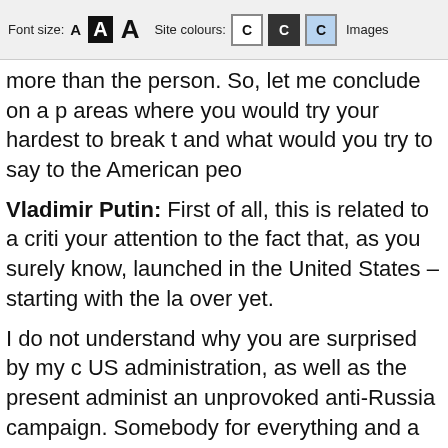Font size: A A A   Site colours: C C C   Images
more than the person. So, let me conclude on a p areas where you would try your hardest to break t and what would you try to say to the American peo
Vladimir Putin: First of all, this is related to a criti your attention to the fact that, as you surely know, launched in the United States – starting with the la over yet.
I do not understand why you are surprised by my c US administration, as well as the present administ an unprovoked anti-Russia campaign. Somebody for everything and a vicious anti-Russia hysteria – whipped up. Any issue, any failure is being attribu the case – on any issue. Look for the Russian trai my first point.